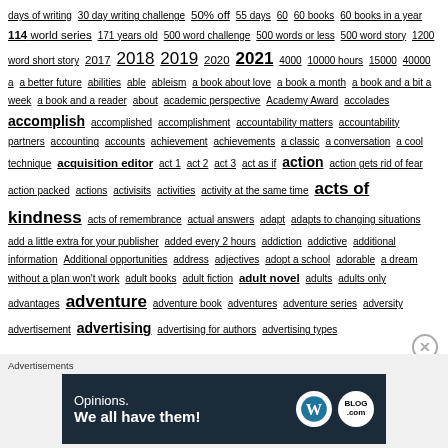days of writing 30 day writing challenge 50% off 55 days 60 60 books 60 books in a year 114 world series 171 years old 500 word challenge 500 words or less 500 word story 1200 word short story 2017 2018 2019 2020 2021 4000 10000 hours 15000 40000 a a better future abilities able ableism a book about love a book a month a book and a bit a week a book and a reader about academic perspective Academy Award accolades accomplish accomplished accomplishment accountability matters accountability partners accounting accounts achievement achievements a classic a conversation a cool technique acquisition editor act 1 act 2 act 3 act as if action action gets rid of fear action packed actions activisits activities activity at the same time acts of kindness acts of remembrance actual answers adapt adapts to changing situations add a little extra for your publisher added every 2 hours addiction addictive additional information Additional opportunities address adjectives adopt a school adorable a dream without a plan won't work adult books adult fiction adult novel adults adults only advantages adventure adventure book adventures adventure series adversity advertisement advertising advertising for authors advertising types
Advertisements
[Figure (other): Advertisement banner with dark navy background showing text 'Opinions. We all have them!' with WordPress and Blog.com logos]